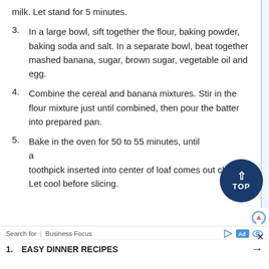milk. Let stand for 5 minutes.
3. In a large bowl, sift together the flour, baking powder, baking soda and salt. In a separate bowl, beat together mashed banana, sugar, brown sugar, vegetable oil and egg.
4. Combine the cereal and banana mixtures. Stir in the flour mixture just until combined, then pour the batter into prepared pan.
5. Bake in the oven for 50 to 55 minutes, until a toothpick inserted into center of loaf comes out clean. Let cool before slicing.
[Figure (other): TOP button - circular dark blue button with upward chevron and text TOP]
[Figure (other): Partial reCAPTCHA logo visible at bottom right]
Search for | Business Focus  [Ad icons]  1.  EASY DINNER RECIPES  →  ×